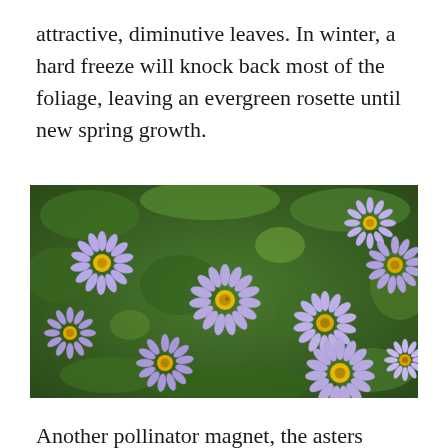attractive, diminutive leaves. In winter, a hard freeze will knock back most of the foliage, leaving an evergreen rosette until new spring growth.
[Figure (photo): Close-up photograph of multiple purple aster flowers with yellow centers blooming among green foliage.]
Another pollinator magnet, the asters always have plenty of nectaring business and often host rarely seen winged